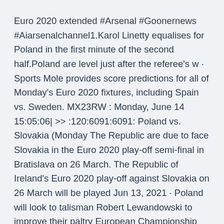Euro 2020 extended #Arsenal #Goonernews #Aiarsenalchannel1.Karol Linetty equalises for Poland in the first minute of the second half.Poland are level just after the referee's w · Sports Mole provides score predictions for all of Monday's Euro 2020 fixtures, including Spain vs. Sweden. MX23RW : Monday, June 14 15:05:06| >> :120:6091:6091: Poland vs. Slovakia (Monday The Republic are due to face Slovakia in the Euro 2020 play-off semi-final in Bratislava on 26 March. The Republic of Ireland's Euro 2020 play-off against Slovakia on 26 March will be played Jun 13, 2021 · Poland will look to talisman Robert Lewandowski to improve their paltry European Championship goalscoring returns when they face Slovakia in Euro 2020 Group E. In their 11 previous matches at the finals, Poland have